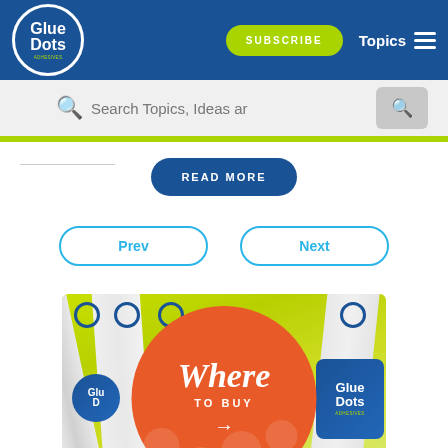Glue Dots | SUBSCRIBE | Topics
Search Topics, Ideas ar
READ MORE
Prev
Next
[Figure (photo): Glue Dots adhesive product sticks with a large orange circle overlay reading 'Where TO BUY' with an arrow, set against a yellow-green background with product packaging visible including Glue Dots logos]